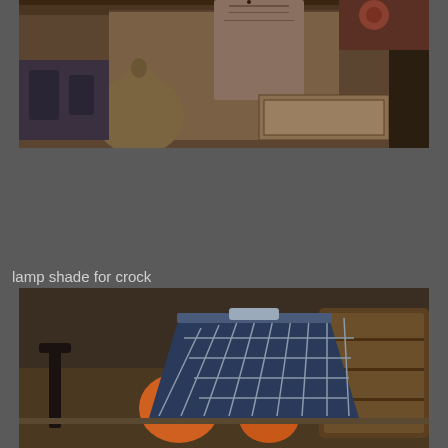[Figure (photo): A rustic interior scene with a large gourd on a wooden cabinet, a cloth bag hanging, and various antique items in a dark storage setting.]
lamp shade for crock
[Figure (photo): A checkered/plaid dark blue and white lamp shade placed on a crock, surrounded by pumpkins, a candle stick, and a wooden barrel in a rustic setting.]